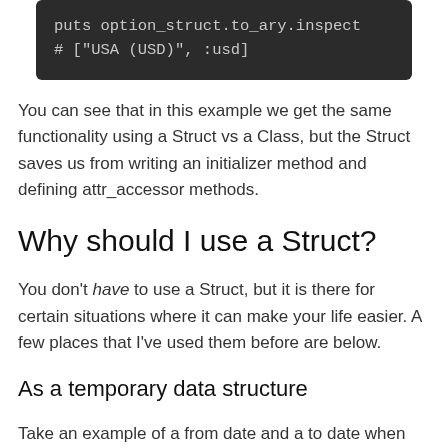[Figure (screenshot): Dark background code block showing: puts option_struct.to_ary.inspect on first line, # ["USA (USD)", :usd] on second line]
You can see that in this example we get the same functionality using a Struct vs a Class, but the Struct saves us from writing an initializer method and defining attr_accessor methods.
Why should I use a Struct?
You don't have to use a Struct, but it is there for certain situations where it can make your life easier. A few places that I've used them before are below.
As a temporary data structure
Take an example of a from date and a to date when